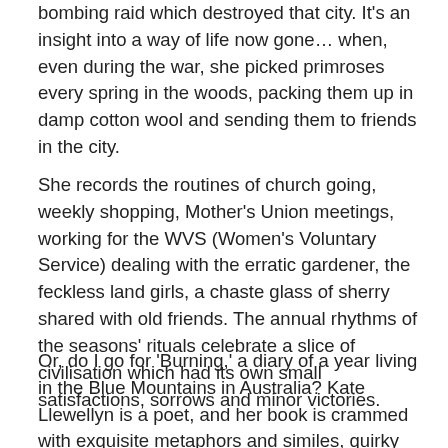bombing raid which destroyed that city. It's an insight into a way of life now gone… when, even during the war, she picked primroses every spring in the woods, packing them up in damp cotton wool and sending them to friends in the city.
She records the routines of church going, weekly shopping, Mother's Union meetings, working for the WVS (Women's Voluntary Service) dealing with the erratic gardener, the feckless land girls, a chaste glass of sherry shared with old friends. The annual rhythms of the seasons' rituals celebrate a slice of civilisation which had its own small satisfactions, sorrows and minor victories.
Or, do I go for 'Burning,' a diary of a year living in the Blue Mountains in Australia? Kate Llewellyn is a poet, and her book is crammed with exquisite metaphors and similes, quirky people, precious moments of beauty, meditations